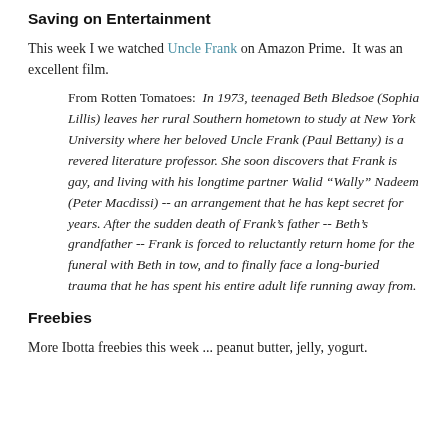Saving on Entertainment
This week I we watched Uncle Frank on Amazon Prime.  It was an excellent film.
From Rotten Tomatoes:  In 1973, teenaged Beth Bledsoe (Sophia Lillis) leaves her rural Southern hometown to study at New York University where her beloved Uncle Frank (Paul Bettany) is a revered literature professor. She soon discovers that Frank is gay, and living with his longtime partner Walid “Wally” Nadeem (Peter Macdissi) -- an arrangement that he has kept secret for years. After the sudden death of Frank’s father -- Beth’s grandfather -- Frank is forced to reluctantly return home for the funeral with Beth in tow, and to finally face a long-buried trauma that he has spent his entire adult life running away from.
Freebies
More Ibotta freebies this week ... peanut butter, jelly, yogurt.